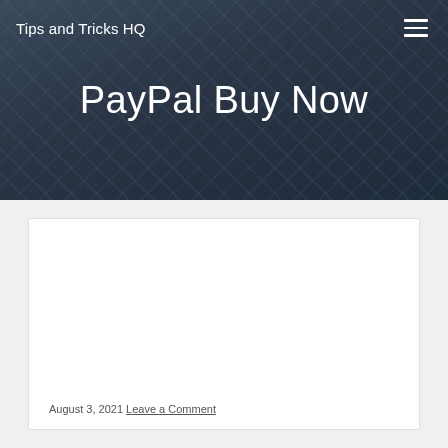Tips and Tricks HQ
PayPal Buy Now
August 3, 2021 Leave a Comment